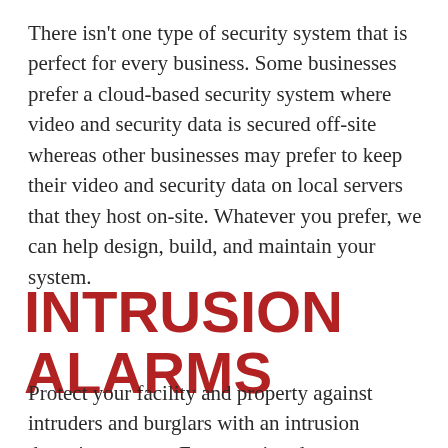There isn't one type of security system that is perfect for every business. Some businesses prefer a cloud-based security system where video and security data is secured off-site whereas other businesses may prefer to keep their video and security data on local servers that they host on-site. Whatever you prefer, we can help design, build, and maintain your system.
INTRUSION ALARMS
Protect your facility and property against intruders and burglars with an intrusion detection system. From motion detectors to glass break sensors to door and window contact sensors...